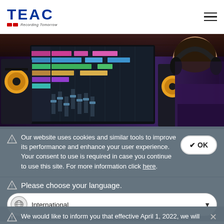[Figure (logo): TEAC logo with text 'Recording Tomorrow' and two small red rectangles]
[Figure (photo): Person wearing headphones seen from behind, facing a computer monitor showing a DAW (digital audio workstation) interface, with a studio monitor speaker visible]
Our website uses cookies and similar tools to improve its performance and enhance your user experience.
Your consent to use is required in case you continue to use this site. For more information click here.
Please choose your language.
International
We would like to inform you that effective April 1, 2022, we will revise our Privacy Notice. Click here